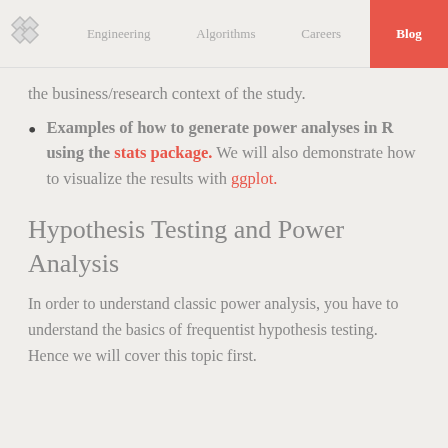Engineering | Algorithms | Careers | Blog
the business/research context of the study.
Examples of how to generate power analyses in R using the stats package. We will also demonstrate how to visualize the results with ggplot.
Hypothesis Testing and Power Analysis
In order to understand classic power analysis, you have to understand the basics of frequentist hypothesis testing. Hence we will cover this topic first.